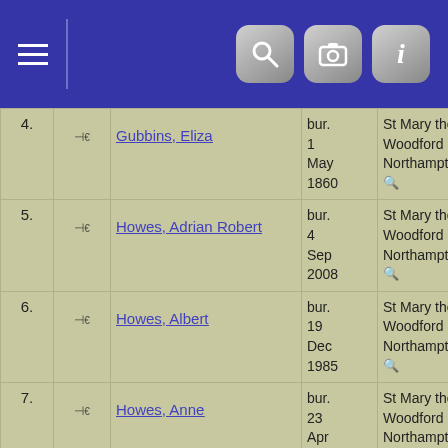Navigation header with menu and icons
| # |  | Name | Date | Place | ID |
| --- | --- | --- | --- | --- | --- |
| 4. | ⊣€ | Gubbins, Eliza | bur. 1 May 1860 | St Mary the Virgin, Woodford Halse, Northamptonshire | I17187 |
| 5. | ⊣€ | Howes, Adrian Robert | bur. 4 Sep 2008 | St Mary the Virgin, Woodford Halse, Northamptonshire | I25419 |
| 6. | ⊣€ | Howes, Albert | bur. 19 Dec 1985 | St Mary the Virgin, Woodford Halse, Northamptonshire | I8444 |
| 7. | ⊣€ | Howes, Anne | bur. 23 Apr 1885 | St Mary the Virgin, Woodford Halse, Northamptonshire | I27251 |
| 8. | ⊣€ | Howes, Ellen Louie | bur. Abt 17 Dec 1984 | St Mary the Virgin, Woodford Halse, Northamptonshire | I28611 |